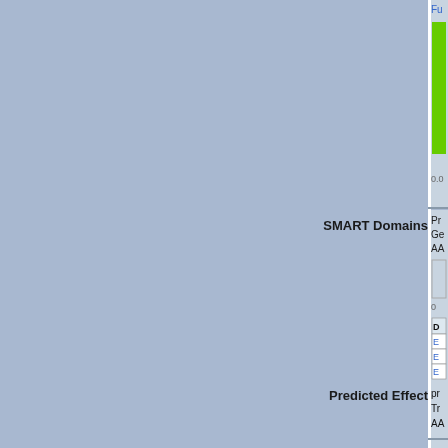[Figure (bar-chart): A green bar chart partially visible in the top-right corner, with value 0.0 shown below]
| SMART Domains | Protein/Gene/AA info and domain chart |
| --- | --- |
| SMART Domains | Protein info: Ge... AA... [bar chart] 0... [D... table with E... E... E...] |
| Predicted Effect | pr... Tra... AA... |